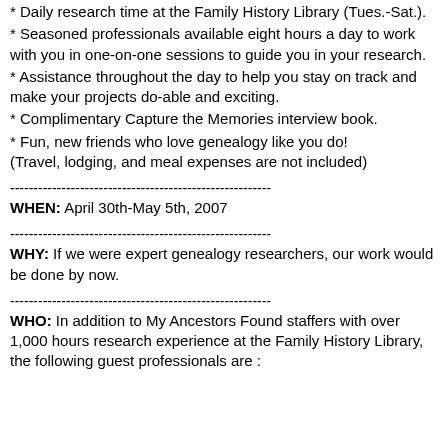* Daily research time at the Family History Library (Tues.-Sat.).
* Seasoned professionals available eight hours a day to work with you in one-on-one sessions to guide you in your research.
* Assistance throughout the day to help you stay on track and make your projects do-able and exciting.
* Complimentary Capture the Memories interview book.
* Fun, new friends who love genealogy like you do! (Travel, lodging, and meal expenses are not included)
WHEN: April 30th-May 5th, 2007
WHY: If we were expert genealogy researchers, our work would be done by now.
WHO: In addition to My Ancestors Found staffers with over 1,000 hours research experience at the Family History Library, the following guest professionals are :